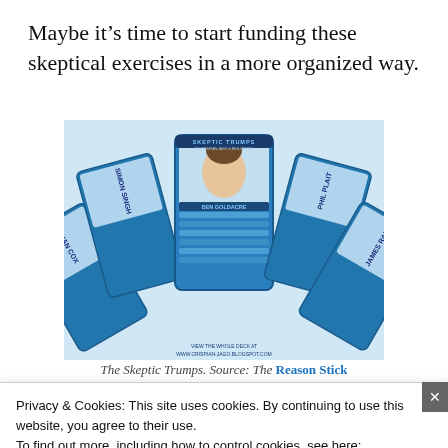Maybe it’s time to start funding these skeptical exercises in a more organized way.
[Figure (photo): Fan of Skeptic Trumps trading cards showing illustrated portraits of Brian Cox, Simon Singh, Ben Goldacre, Phil Plait, and James Rand with stats. Title reads 'SKEPTIC TRUMPS by Crispian Jago & Neil Davies'. Footer text: 'VIEW THE WHOLE DECK AT WWW.CRISPIAN-JAGO.BLOGSPOT.COM']
The Skeptic Trumps. Source: The Reason Stick
Privacy & Cookies: This site uses cookies. By continuing to use this website, you agree to their use.
To find out more, including how to control cookies, see here: Cookie Policy
Close and accept